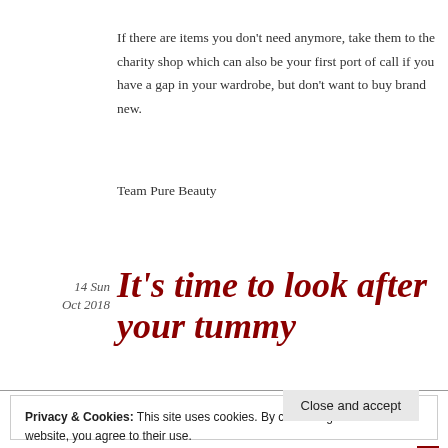If there are items you don't need anymore, take them to the charity shop which can also be your first port of call if you have a gap in your wardrobe, but don't want to buy brand new.
Team Pure Beauty
14 Sun
Oct 2018
It's time to look after your tummy
Privacy & Cookies: This site uses cookies. By continuing to use this website, you agree to their use.
To find out more, including how to control cookies, see here: Cookie Policy
Close and accept